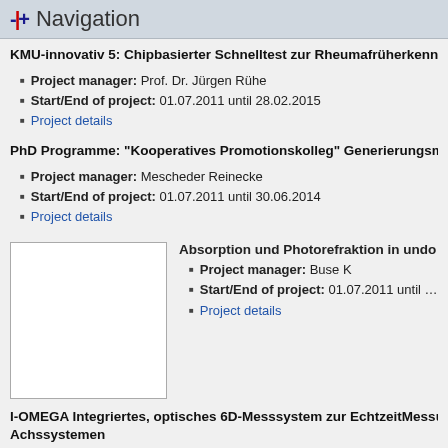Navigation
KMU-innovativ 5: Chipbasierter Schnelltest zur Rheumafrüherkennun...
Project manager: Prof. Dr. Jürgen Rühe
Start/End of project: 01.07.2011 until 28.02.2015
Project details
PhD Programme: "Kooperatives Promotionskolleg" Generierungsme...
Project manager: Mescheder Reinecke
Start/End of project: 01.07.2011 until 30.06.2014
Project details
[Figure (photo): Thumbnail image placeholder (white rectangle with border)]
Absorption und Photorefraktion in undo...
Project manager: Buse K
Start/End of project: 01.07.2011 until ...
Project details
I-OMEGA Integriertes, optisches 6D-Messsystem zur EchtzeitMessur... Achssystemen